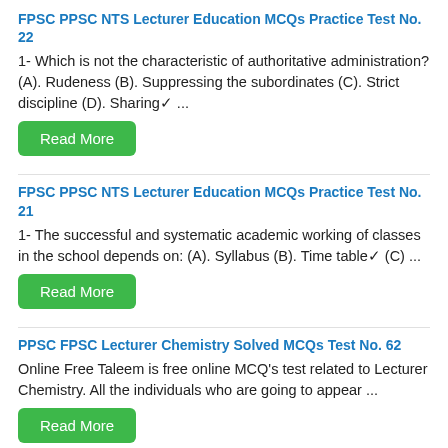FPSC PPSC NTS Lecturer Education MCQs Practice Test No. 22
1- Which is not the characteristic of authoritative administration? (A). Rudeness (B). Suppressing the subordinates (C). Strict discipline (D). Sharing✔ ...
Read More
FPSC PPSC NTS Lecturer Education MCQs Practice Test No. 21
1- The successful and systematic academic working of classes in the school depends on: (A). Syllabus (B). Time table✔ (C) ...
Read More
PPSC FPSC Lecturer Chemistry Solved MCQs Test No. 62
Online Free Taleem is free online MCQ's test related to Lecturer Chemistry. All the individuals who are going to appear ...
Read More
Biochemistry Solved MCQ Practice Test No. 1